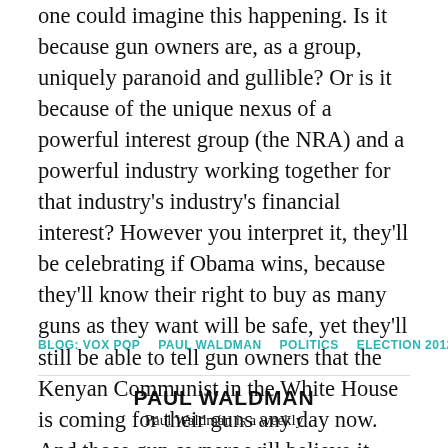one could imagine this happening. Is it because gun owners are, as a group, uniquely paranoid and gullible? Or is it because of the unique nexus of a powerful interest group (the NRA) and a powerful industry working together for that industry's industry's financial interest? However you interpret it, they'll be celebrating if Obama wins, because they'll know their right to buy as many guns as they want will be safe, yet they'll still be able to tell gun owners that the Kenyan Communist in the White House is coming for their guns any day now. And those gun owners will believe it, and keep buying.
BLOG: VOX POP   PAUL WALDMAN   POLITICS   ELECTION 2012
PAUL WALDMAN
Paul Waldman is a weekly